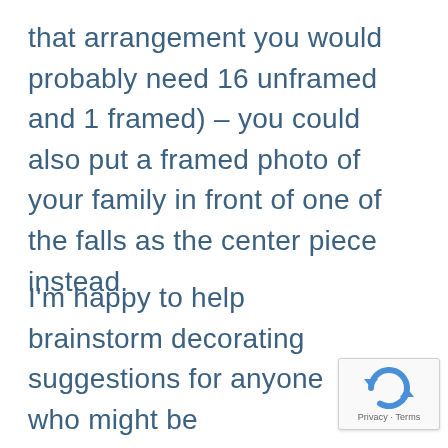that arrangement you would probably need 16 unframed and 1 framed) – you could also put a framed photo of your family in front of one of the falls as the center piece instead.
I'm happy to help brainstorm decorating suggestions for anyone who might be considering starting collection!
[Figure (logo): Google reCAPTCHA badge with Privacy and Terms links]